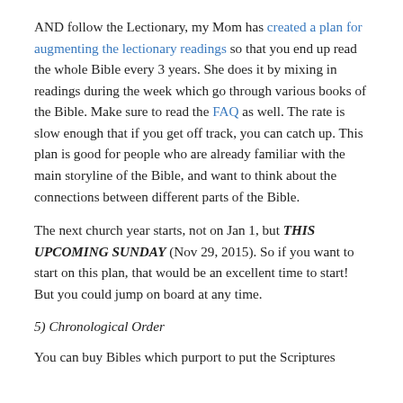AND follow the Lectionary, my Mom has created a plan for augmenting the lectionary readings so that you end up read the whole Bible every 3 years.  She does it by mixing in readings during the week which go through various books of the Bible.  Make sure to read the FAQ as well.  The rate is slow enough that if you get off track, you can catch up.  This plan is good for people who are already familiar with the main storyline of the Bible, and want to think about the connections between different parts of the Bible.
The next church year starts, not on Jan 1, but THIS UPCOMING SUNDAY (Nov 29, 2015).  So if you want to start on this plan, that would be an excellent time to start!  But you could jump on board at any time.
5) Chronological Order
You can buy Bibles which purport to put the Scriptures